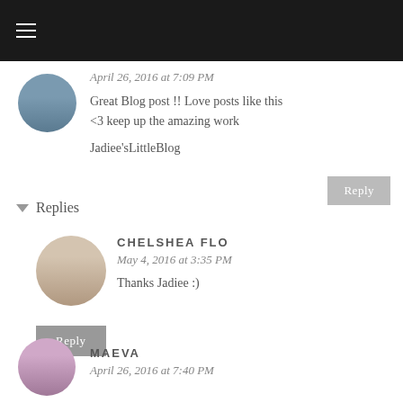April 26, 2016 at 7:09 PM
Great Blog post !! Love posts like this <3 keep up the amazing work

Jadiee'sLittleBlog
▼ Replies
CHELSHEA FLO
May 4, 2016 at 3:35 PM
Thanks Jadiee :)
MAEVA
April 26, 2016 at 7:40 PM